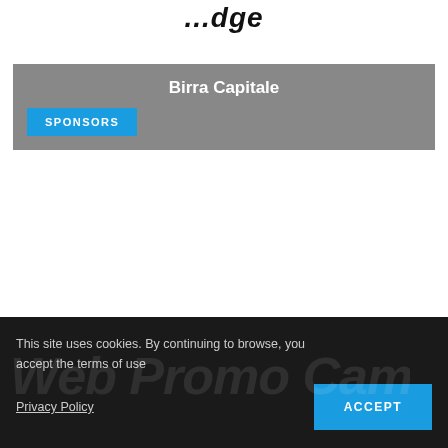...dge
Birra Capitale
SPONSORS
This site uses cookies. By continuing to browse, you accept the terms of use
Privacy Policy
ACCEPT